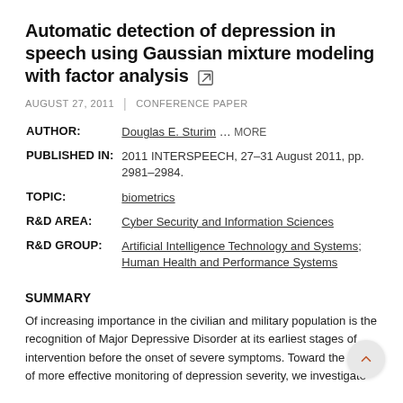Automatic detection of depression in speech using Gaussian mixture modeling with factor analysis
AUGUST 27, 2011 | CONFERENCE PAPER
AUTHOR: Douglas E. Sturim ... MORE
PUBLISHED IN: 2011 INTERSPEECH, 27-31 August 2011, pp. 2981-2984.
TOPIC: biometrics
R&D AREA: Cyber Security and Information Sciences
R&D GROUP: Artificial Intelligence Technology and Systems; Human Health and Performance Systems
SUMMARY
Of increasing importance in the civilian and military population is the recognition of Major Depressive Disorder at its earliest stages of intervention before the onset of severe symptoms. Toward the goal of more effective monitoring of depression severity, we investigate